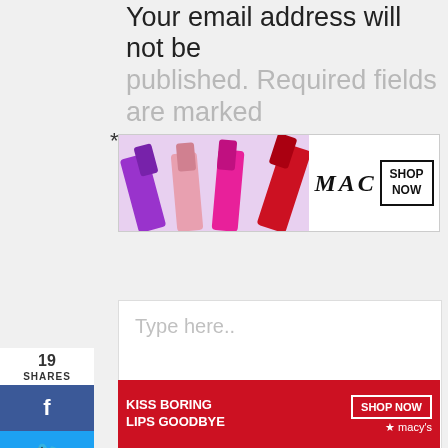Your email address will not be published. Required fields are marked *
[Figure (photo): MAC cosmetics banner ad showing colorful lipsticks with MAC logo and SHOP NOW button]
Type here..
[Figure (screenshot): Social media share sidebar showing 19 SHARES with Facebook (f), Twitter, and Pinterest (19) buttons]
[Figure (photo): Black video player overlay]
[Figure (screenshot): CLOSE button overlay]
[Figure (photo): Macy's banner ad: KISS BORING LIPS GOODBYE SHOP NOW with woman and red lips]